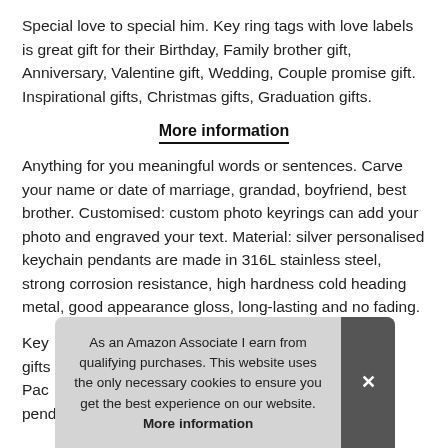Special love to special him. Key ring tags with love labels is great gift for their Birthday, Family brother gift, Anniversary, Valentine gift, Wedding, Couple promise gift. Inspirational gifts, Christmas gifts, Graduation gifts.
More information
Anything for you meaningful words or sentences. Carve your name or date of marriage, grandad, boyfriend, best brother. Customised: custom photo keyrings can add your photo and engraved your text. Material: silver personalised keychain pendants are made in 316L stainless steel, strong corrosion resistance, high hardness cold heading metal, good appearance gloss, long-lasting and no fading.
Key gifts Pac pendants The front is to made your picture,
As an Amazon Associate I earn from qualifying purchases. This website uses the only necessary cookies to ensure you get the best experience on our website. More information